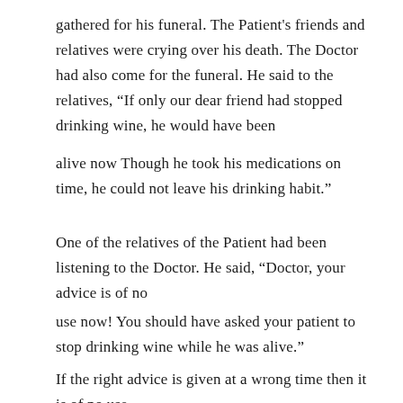gathered for his funeral. The Patient's friends and relatives were crying over his death. The Doctor had also come for the funeral. He said to the relatives, “If only our dear friend had stopped drinking wine, he would have been
alive now Though he took his medications on time, he could not leave his drinking habit.”
One of the relatives of the Patient had been listening to the Doctor. He said, “Doctor, your advice is of no
use now! You should have asked your patient to stop drinking wine while he was alive.”
If the right advice is given at a wrong time then it is of no use.